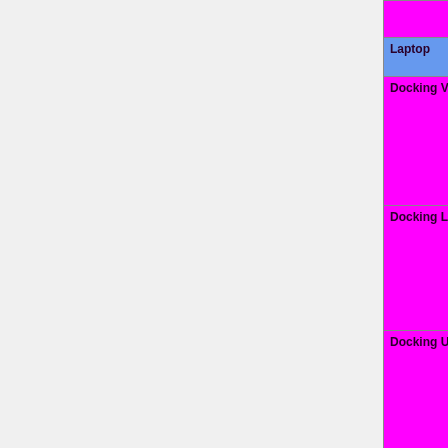| Feature | Status |
| --- | --- |
| (top row - clipped) | yellow }}" | N/A... |
| Laptop |  |
| Docking VGA | OK=lime | TODO=red | No=red | WIP=orange | Untested=yellow | N/A=lightgray yellow }}" | N/A... |
| Docking LAN | OK=lime | TODO=red | No=red | WIP=orange | Untested=yellow | N/A=lightgray yellow }}" | N/A... |
| Docking USB | OK=lime | TODO=red | No=red | WIP=orange | Untested=yellow | N/A=lightgray yellow }}" | N/A... |